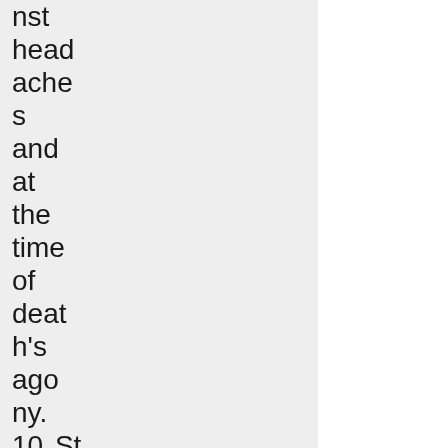nst headaches and at the time of death's agony.
10. St. Eustace (also Eust